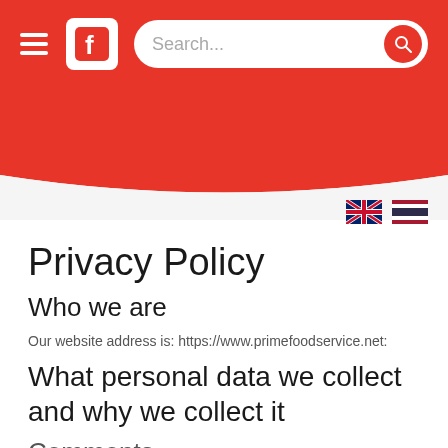Search...
Privacy Policy
Who we are
Our website address is: https://www.primefoodservice.net:
What personal data we collect and why we collect it
Comments